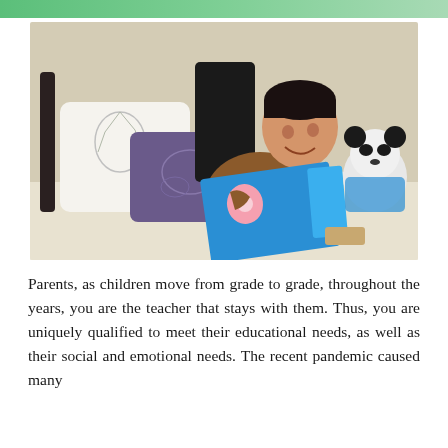[Figure (photo): A young boy lying on a bed reading a bright blue book, smiling. Decorative pillows (white with grey floral print, purple) are behind him. A panda stuffed animal is to his right. The scene is a cozy bedroom.]
Parents, as children move from grade to grade, throughout the years, you are the teacher that stays with them. Thus, you are uniquely qualified to meet their educational needs, as well as their social and emotional needs. The recent pandemic caused many